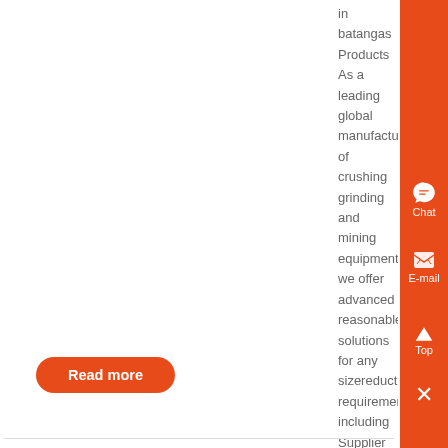in batangas Products As a leading global manufacturer of crushing grinding and mining equipments we offer advanced reasonable solutions for any sizereduction requirements including Supplier of white sand and gravel batangas quarry aggregate and different kinds of minerals...
Read more
gravel for sale batangas
gravel suppliers batangas, construction methods philippines cebu , land farm land for sale laguna philippines, rosario batangas, farm land for sale batangas Sand Supplier In Laguna And Cavite - ,...
[Figure (photo): Industrial drum/roller machinery for mining or aggregate processing]
Read more
list of gravel and sand companies in
[Figure (photo): Thumbnail image of gravel/sand operation]